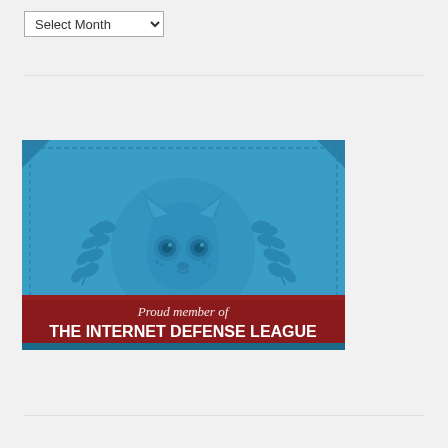Select Month
[Figure (illustration): Internet Defense League badge/logo: blue background with embossed cat face in center, decorative leaf/laurel branches on sides, dashed border stitching. Red ribbon banner at bottom with italic text 'Proud member of' and bold text 'THE INTERNET DEFENSE LEAGUE'.]